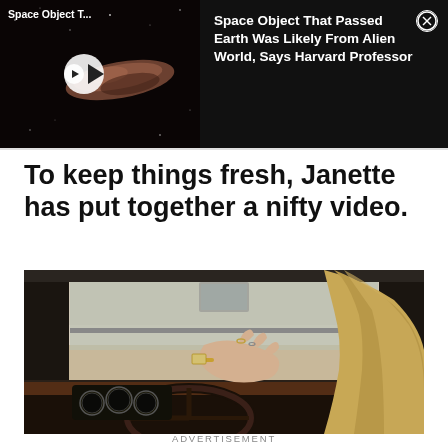[Figure (screenshot): Dark banner showing a space object video thumbnail on the left with a play button, and article title text on the right with a close button: 'Space Object That Passed Earth Was Likely From Alien World, Says Harvard Professor']
To keep things fresh, Janette has put together a nifty video.
[Figure (photo): Photo of a woman's hand on a vintage car steering wheel, dashboard with gauges visible, woman with blonde hair visible on right side]
ADVERTISEMENT